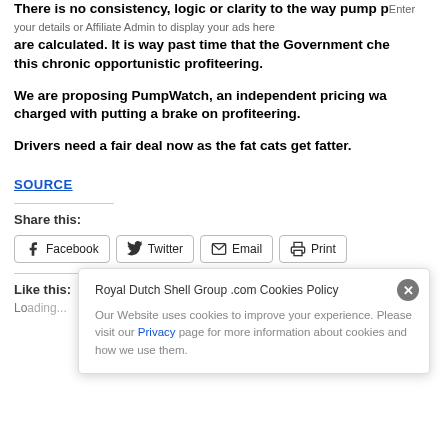There is no consistency, logic or clarity to the way pump prices are calculated. It is way past time that the Government checked this chronic opportunistic profiteering.
We are proposing PumpWatch, an independent pricing watchdog charged with putting a brake on profiteering.
Drivers need a fair deal now as the fat cats get fatter.
SOURCE
Share this:
Facebook  Twitter  Email  Print
Like this:
[Figure (screenshot): Cookie consent popup for Royal Dutch Shell Group .com: 'Our Website uses cookies to improve your experience. Please visit our Privacy page for more information about cookies and how we use them.']